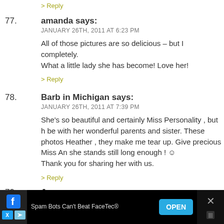> Reply
77. amanda says:
JANUARY 26TH, 2011 AT 6:23 PM
All of those pictures are so delicious – but I completely. What a little lady she has become! Love her!
> Reply
78. Barb in Michigan says:
JANUARY 26TH, 2011 AT 7:39 PM
She's so beautiful and certainly Miss Personality , but h be with her wonderful parents and sister. These photos Heather , they make me tear up. Give precious Miss An she stands still long enough ! ☺
Thank you for sharing her with us.
> Reply
79. Jenn says:
JANUARY 26TH, 2011 AT 7:42 PM
Spam Bots Can't Beat FaceTec®